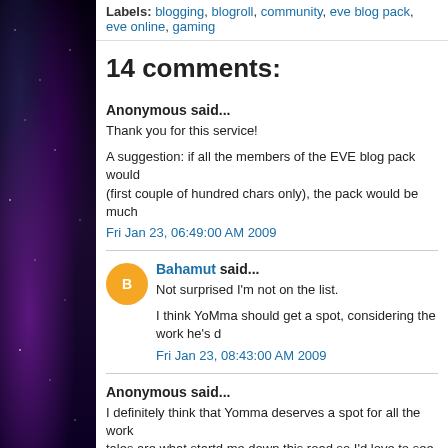Labels: blogging, blogroll, community, eve blog pack, eve online, gaming
14 comments:
Anonymous said...
Thank you for this service!
A suggestion: if all the members of the EVE blog pack would (first couple of hundred chars only), the pack would be much
Fri Jan 23, 06:49:00 AM 2009
Bahamut said...
Not surprised I'm not on the list.
I think YoMma should get a spot, considering the work he's d
Fri Jan 23, 08:43:00 AM 2009
Anonymous said...
I definitely think that Yomma deserves a spot for all the work tales are what startd me down this road so I'd love to see him protege so it would be great to see him included too.